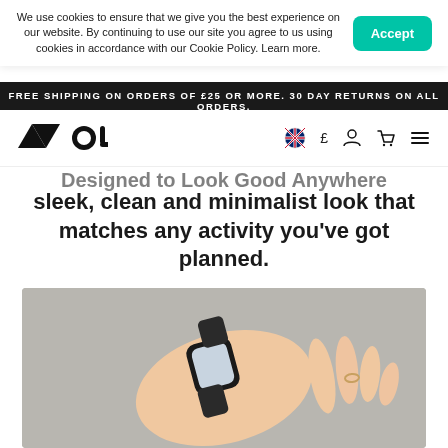We use cookies to ensure that we give you the best experience on our website. By continuing to use our site you agree to us using cookies in accordance with our Cookie Policy. Learn more.
Accept
FREE SHIPPING ON ORDERS OF £25 OR MORE. 30 DAY RETURNS ON ALL ORDERS.
[Figure (logo): Mous logo — stylized triangles and curved shape forming the word MOUS]
Designed to Look Good Anywhere
sleek, clean and minimalist look that matches any activity you've got planned.
[Figure (photo): A hand wearing a black Apple Watch with a black woven band, raised against a grey background, with rings on the fingers.]